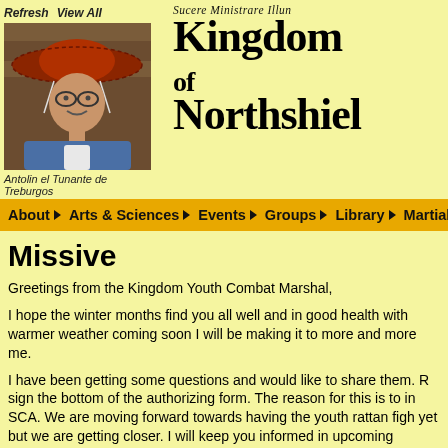Refresh  View All
[Figure (photo): Photo of a person wearing a straw hat and medieval-style blue outfit with a crescent moon design]
Antolin el Tunante de Treburgos
Sucere Ministrare Illum Kingdom of Northshield
About | Arts & Sciences | Events | Groups | Library | Martial Arts | N
Missive
Greetings from the Kingdom Youth Combat Marshal,
I hope the winter months find you all well and in good health with warmer weather coming soon I will be making it to more and more me.
I have been getting some questions and would like to share them. R sign the bottom of the authorizing form. The reason for this is to in SCA. We are moving forward towards having the youth rattan figh yet but we are getting closer. I will keep you informed in upcoming
Children's Boffer Division (Ages 6-9) is touch force; we think that